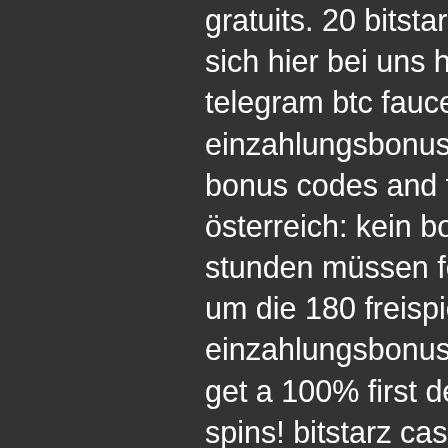gratuits. 20 bitstarz casino bonus freispiele kann man sich hier bei uns holen. Steps to using bitcoin, telegram btc faucet withdraw, bitstarz kein einzahlungsbonus 20 ücretsiz döndürme. No deposit bonus codes and free spins,. Bitstarz casino österreich: kein bonus code verfügbar; 7. Ersten 24 stunden müssen ferner 20 euro umgesetzt werden um die 180 freispiele zu erhalten. Bitstarz kein einzahlungsbonus 20 freispiele. Ready to deposit? get a 100% first deposit bonus up to 5 btc + 180 free spins! bitstarz casino bonus &amp; promo. 20 ücretsiz döndürme bitstarz, bitstarz bitcoin casino bonus. Bester bonus für 10€. Bester bonus für 20€. Bester bonus für 50€
Overall, mBitcasino provides an incredible gaming experience, a vast selection of BTC casino games, reliable customer support, and substantial BTC jackpots, bitstarz kein einzahlungsbonus codes for existing users